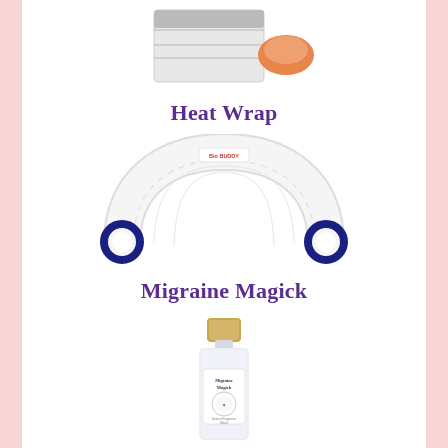[Figure (photo): Partial view of a heat wrap product box with an orange/coral item visible beside it, cropped at the top of the page]
Heat Wrap
[Figure (photo): A white padded neck/cervical heat wrap with blue ring handles on each end, curved in an arc shape, with a small logo label on top reading 'Bio Buddy']
Migraine Magick
[Figure (photo): A small glass perfume or serum bottle with a gold cap and white label reading 'Migraine Magick', partially visible at the bottom of the page]